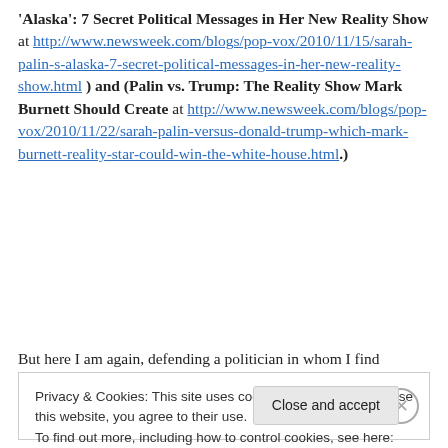'Alaska': 7 Secret Political Messages in Her New Reality Show at http://www.newsweek.com/blogs/pop-vox/2010/11/15/sarah-palin-s-alaska-7-secret-political-messages-in-her-new-reality-show.html ) and (Palin vs. Trump: The Reality Show Mark Burnett Should Create at http://www.newsweek.com/blogs/pop-vox/2010/11/22/sarah-palin-versus-donald-trump-which-mark-burnett-reality-star-could-win-the-white-house.html.)
But here I am again, defending a politician in whom I find
Privacy & Cookies: This site uses cookies. By continuing to use this website, you agree to their use. To find out more, including how to control cookies, see here: Cookie Policy